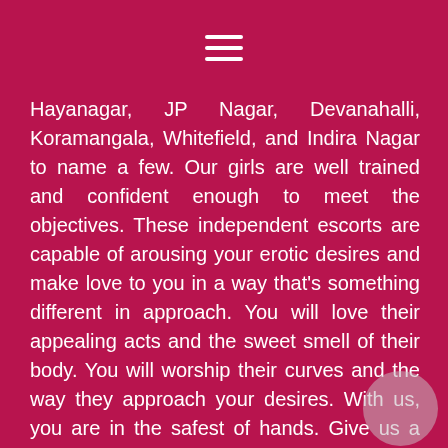≡
Hayanagar, JP Nagar, Devanahalli, Koramangala, Whitefield, and Indira Nagar to name a few. Our girls are well trained and confident enough to meet the objectives. These independent escorts are capable of arousing your erotic desires and make love to you in a way that's something different in approach. You will love their appealing acts and the sweet smell of their body. You will worship their curves and the way they approach your desires. With us, you are in the safest of hands. Give us a call and we will guide you through the best of services on offering. Make the most of the opportunities that knocks on your door. The joy will be relentless and you will never forget these moments of love and ecstasy.
If you are feeling all alone and craving for some sexual affairs, just visit our agency website. Choose